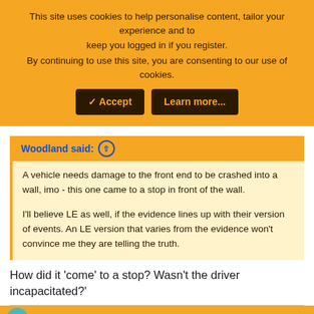This site uses cookies to help personalise content, tailor your experience and to keep you logged in if you register. By continuing to use this site, you are consenting to our use of cookies.
✓ Accept | Learn more...
Woodland said: ↑
A vehicle needs damage to the front end to be crashed into a wall, imo - this one came to a stop in front of the wall.

I'll believe LE as well, if the evidence lines up with their version of events. An LE version that varies from the evidence won't convince me they are telling the truth.
How did it 'come' to a stop? Wasn't the driver incapacitated?'